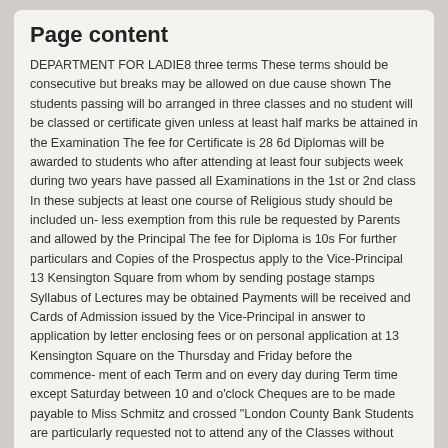Page content
DEPARTMENT FOR LADIE8 three terms These terms should be consecutive but breaks may be allowed on due cause shown The students passing will bo arranged in three classes and no student will be classed or certificate given unless at least half marks be attained in the Examination The fee for Certificate is 28 6d Diplomas will be awarded to students who after attending at least four subjects week during two years have passed all Examinations in the 1st or 2nd class In these subjects at least one course of Religious study should be included un- less exemption from this rule be requested by Parents and allowed by the Principal The fee for Diploma is 10s For further particulars and Copies of the Prospectus apply to the Vice-Principal 13 Kensington Square from whom by sending postage stamps Syllabus of Lectures may be obtained Payments will be received and Cards of Admission issued by the Vice-Principal in answer to application by letter enclosing fees or on personal application at 13 Kensington Square on the Thursday and Friday before the commence- ment of each Term and on every day during Term time except Saturday between 10 and o'clock Cheques are to be made payable to Miss Schmitz and crossed "London County Bank Students are particularly requested not to attend any of the Classes without having previously communicated with the Vice-Principal There is Reading and Waiting room for ladies who wish to remain during the intervals between Lectures and simple Lunch can be obtained from the housekeeper
Further information